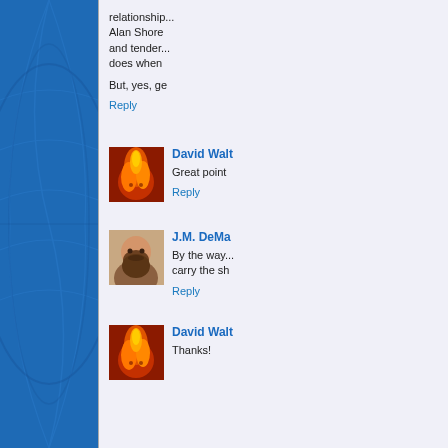relationship... Alan Shore... and tender... does when
But, yes, ge
Reply
David Walt
Great point
Reply
J.M. DeMa
By the way... carry the sh
Reply
David Walt
Thanks!